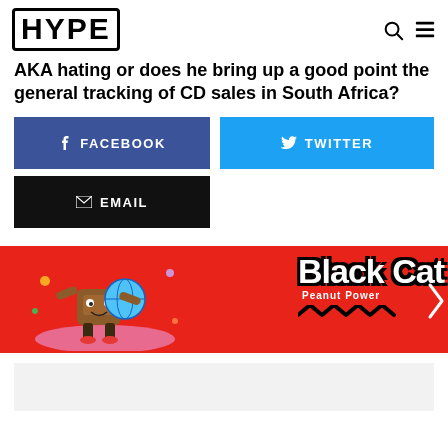HYPE
AKA hating or does he bring up a good point the general tracking of CD sales in South Africa?
[Figure (other): Facebook share button (blue)]
[Figure (other): Twitter share button (light blue)]
[Figure (other): Email share button (black)]
[Figure (other): Black Cat Peanut Power advertisement banner on red background with cartoon character holding globe]